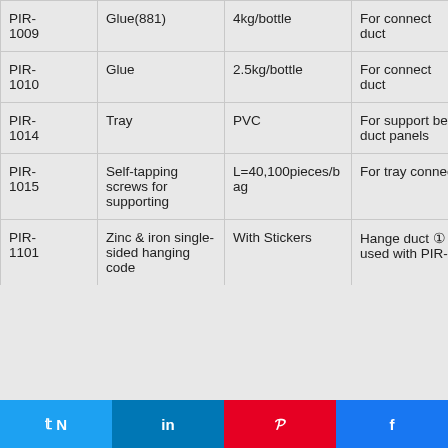| PIR-1009 | Glue(881) | 4kg/bottle | For connect duct |
| PIR-1010 | Glue | 2.5kg/bottle | For connect duct |
| PIR-1014 | Tray | PVC | For support between duct panels |
| PIR-1015 | Self-tapping screws for supporting | L=40,100pieces/bag | For tray connecting |
| PIR-1101 | Zinc & iron single-sided hanging code | With Stickers | Hange duct ① used with PIR-1102 |